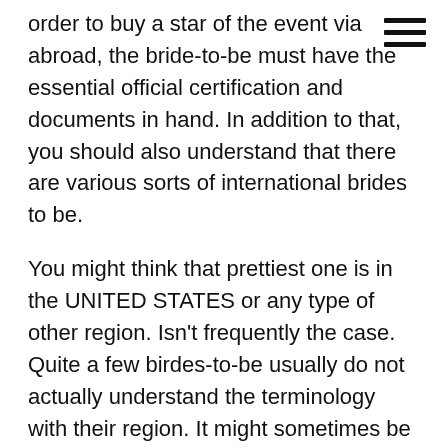order to buy a star of the event via abroad, the bride-to-be must have the essential official certification and documents in hand. In addition to that, you should also understand that there are various sorts of international brides to be.
You might think that prettiest one is in the UNITED STATES or any type of other region. Isn't frequently the case. Quite a few birdes-to-be usually do not actually understand the terminology with their region. It might sometimes be confusing to them method get married because nation.
This is why you need to know in regards to the